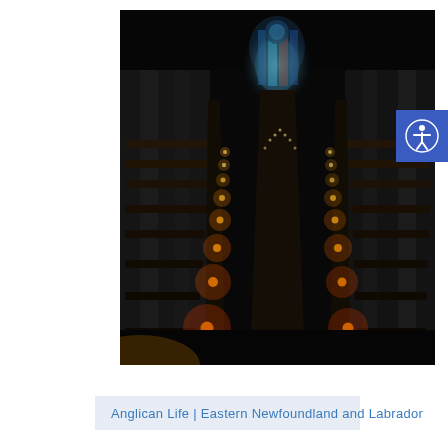[Figure (photo): Interior of a dark cathedral church with rows of wooden pews lit by candles along the aisles, leading toward a large stained glass window at the far end. The image is predominantly dark with warm candlelight glowing along the pews.]
Anglican Life | Eastern Newfoundland and Labrador